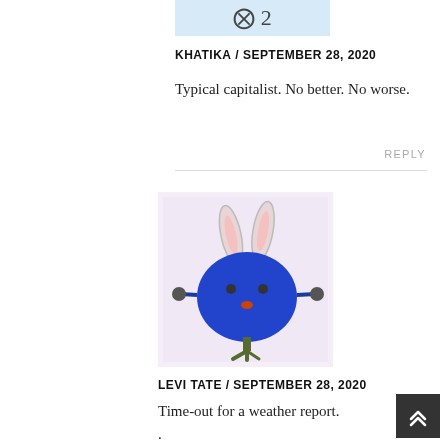[Figure (illustration): Partial view of avatar with text '2' visible, light blue background]
KHATIKA / SEPTEMBER 28, 2020
Typical capitalist. No better. No worse.
REPLY
[Figure (illustration): Cartoon character: a round blue bird-like creature with rabbit ears, small eyes, a red beak, and green bird feet standing on one leg, on a lavender background]
LEVI TATE / SEPTEMBER 28, 2020
Time-out for a weather report.
.
There is a shit storm coming with a possibility of stun grenades.
.